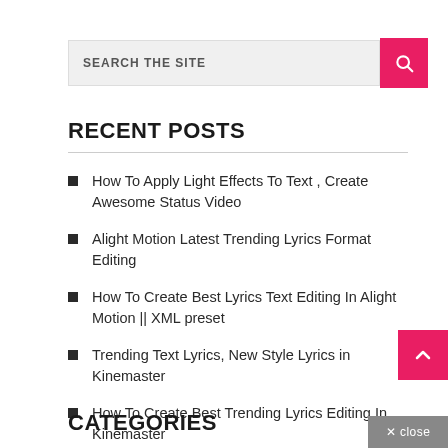SEARCH THE SITE
RECENT POSTS
How To Apply Light Effects To Text , Create Awesome Status Video
Alight Motion Latest Trending Lyrics Format Editing
How To Create Best Lyrics Text Editing In Alight Motion || XML preset
Trending Text Lyrics, New Style Lyrics in Kinemaster
How To Create Best Trending Lyrics Editing In Kinemaster
CATEGORIES